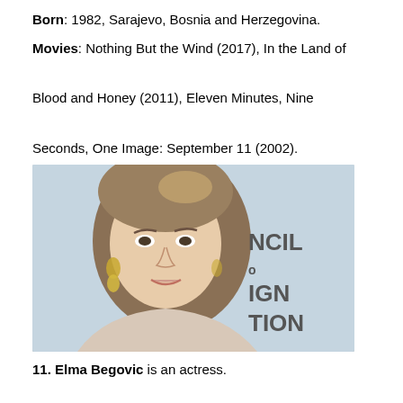Born: 1982, Sarajevo, Bosnia and Herzegovina.
Movies: Nothing But the Wind (2017), In the Land of Blood and Honey (2011), Eleven Minutes, Nine Seconds, One Image: September 11 (2002).
[Figure (photo): Portrait photo of a young blonde woman with hair swept up, wearing gold drop earrings, smiling at camera. Background shows partial text reading NCIL, IGN, TION (part of a Council of Fashion sign).]
11. Elma Begovic is an actress.